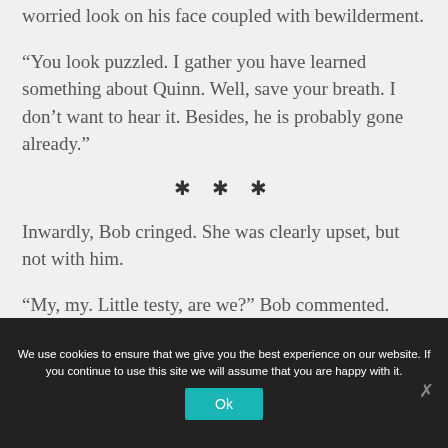worried look on his face coupled with bewilderment.
“You look puzzled. I gather you have learned something about Quinn. Well, save your breath. I don’t want to hear it. Besides, he is probably gone already.”
✱ ✱ ✱
Inwardly, Bob cringed. She was clearly upset, but not with him.
“My, my. Little testy, are we?” Bob commented.
We use cookies to ensure that we give you the best experience on our website. If you continue to use this site we will assume that you are happy with it.